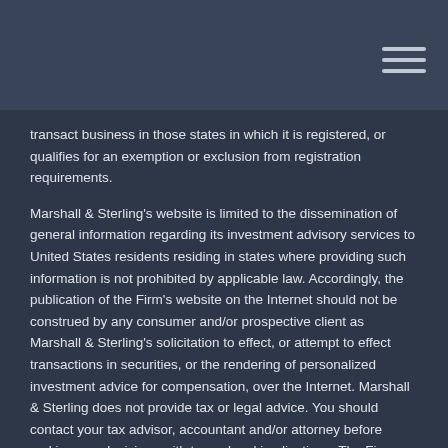transact business in those states in which it is registered, or qualifies for an exemption or exclusion from registration requirements.
Marshall & Sterling's website is limited to the dissemination of general information regarding its investment advisory services to United States residents residing in states where providing such information is not prohibited by applicable law. Accordingly, the publication of the Firm's website on the Internet should not be construed by any consumer and/or prospective client as Marshall & Sterling's solicitation to effect, or attempt to effect transactions in securities, or the rendering of personalized investment advice for compensation, over the Internet. Marshall & Sterling does not provide tax or legal advice. You should contact your tax advisor, accountant and/or attorney before making any decisions with tax or legal implications. The Firm does not make any representations as to the accuracy, timeliness, suitability, completeness, or relevance of any information prepared by any unaffiliated third party, whether linked to Marshall & Sterling's website or incorporated herein, and